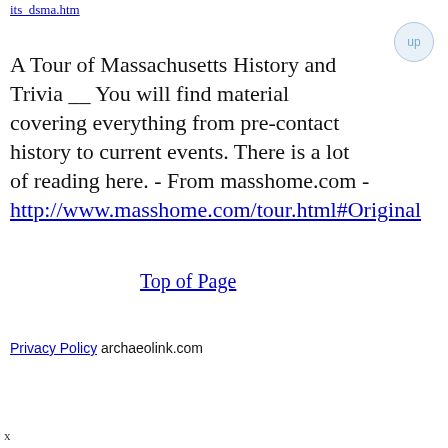its_dsma.htm
A Tour of Massachusetts History and Trivia __ You will find material covering everything from pre-contact history to current events. There is a lot of reading here. - From masshome.com - http://www.masshome.com/tour.html#Original
Top of Page
Privacy Policy archaeolink.com